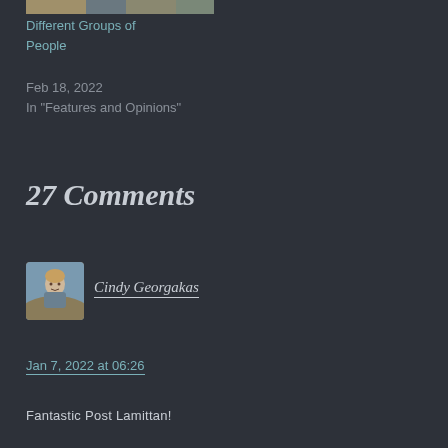[Figure (photo): Partial cropped photo at top of page showing people]
Different Groups of People
Feb 18, 2022
In "Features and Opinions"
27 Comments
[Figure (photo): Avatar photo of Cindy Georgakas, a woman smiling outdoors]
Cindy Georgakas
Jan 7, 2022 at 06:26
Fantastic Post Lamittan!